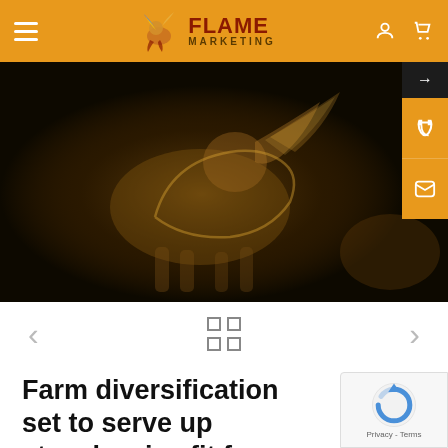[Figure (logo): Flame Marketing logo with horse/bird graphic and orange header bar]
[Figure (photo): Dark hero banner image showing a glowing golden horse silhouette on a dark background]
[Figure (screenshot): Navigation row below hero with left/right arrows and a 2x2 grid icon]
Farm diversification set to serve up strawberries fit for